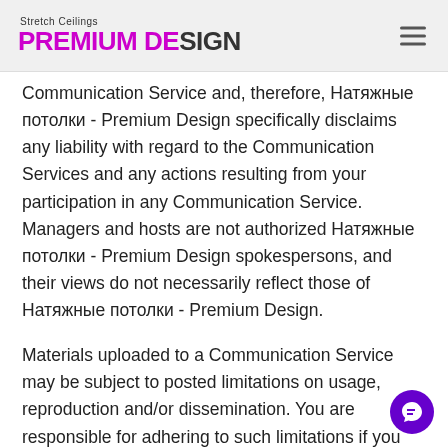Stretch Ceilings Premium Design
Communication Service and, therefore, Натяжные потолки - Premium Design specifically disclaims any liability with regard to the Communication Services and any actions resulting from your participation in any Communication Service. Managers and hosts are not authorized Натяжные потолки - Premium Design spokespersons, and their views do not necessarily reflect those of Натяжные потолки - Premium Design.
Materials uploaded to a Communication Service may be subject to posted limitations on usage, reproduction and/or dissemination. You are responsible for adhering to such limitations if you download the materials